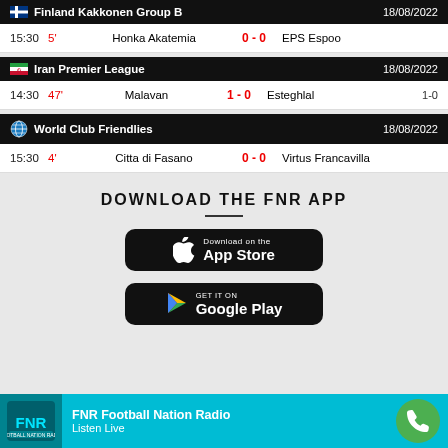Finland Kakkonen Group B — 18/08/2022
| Time | Min | Home | Score | Away |
| --- | --- | --- | --- | --- |
| 15:30 | 5' | Honka Akatemia | 0 - 0 | EPS Espoo |
Iran Premier League — 18/08/2022
| Time | Min | Home | Score | Away | Agg |
| --- | --- | --- | --- | --- | --- |
| 14:30 | 47' | Malavan | 1 - 0 | Esteghlal | 1-0 |
World Club Friendlies — 18/08/2022
| Time | Min | Home | Score | Away |
| --- | --- | --- | --- | --- |
| 15:30 | 4' | Citta di Fasano | 0 - 0 | Virtus Francavilla |
DOWNLOAD THE FNR APP
[Figure (screenshot): App Store download button]
[Figure (screenshot): Google Play download button]
FNR Football Nation Radio — Listen Live